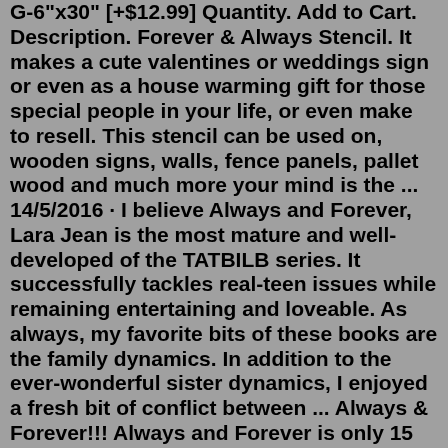G-6"x30" [+$12.99] Quantity. Add to Cart. Description. Forever & Always Stencil. It makes a cute valentines or weddings sign or even as a house warming gift for those special people in your life, or even make to resell. This stencil can be used on, wooden signs, walls, fence panels, pallet wood and much more your mind is the ... 14/5/2016 · I believe Always and Forever, Lara Jean is the most mature and well-developed of the TATBILB series. It successfully tackles real-teen issues while remaining entertaining and loveable. As always, my favorite bits of these books are the family dynamics. In addition to the ever-wonderful sister dynamics, I enjoyed a fresh bit of conflict between ... Always & Forever!!! Always and Forever is only 15 Minutes to the City of Pigeon Forge. Here you will find thousands of top-rated restaurants and attractions like Paula Deen's Family Kitchen, Old Mill Restaurant, Hatfield and McCoy Dinner show, and Dolly Parton's Stampede--all just a few minutes away! Located on the main floor is the primary ... Call: 865-453-0788 to inquire about